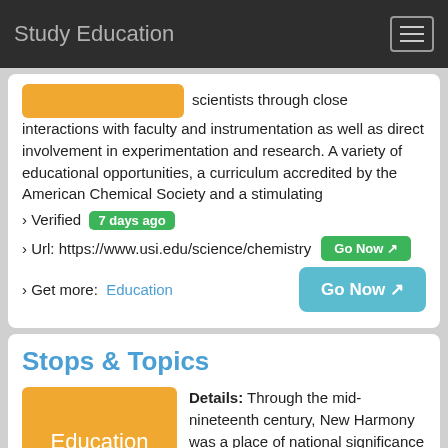Study Education
scientists through close interactions with faculty and instrumentation as well as direct involvement in experimentation and research. A variety of educational opportunities, a curriculum accredited by the American Chemical Society and a stimulating
› Verified 7 days ago
› Url: https://www.usi.edu/science/chemistry  Go Now
› Get more:  Education   Go Now
Stops & Topics
Details: Through the mid-nineteenth century, New Harmony was a place of national significance to the study of the natural world through art, education and scientific investigation. Hear from Dr. William Elliott,